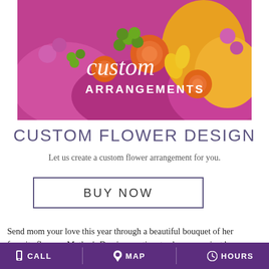[Figure (photo): Colorful floral bouquet with orange roses, pink/purple flowers, green berries, and yellow blooms. Overlaid text reads 'custom ARRANGEMENTS' in white cursive and bold letters.]
CUSTOM FLOWER DESIGN
Let us create a custom flower arrangement for you.
BUY NOW
Send mom your love this year through a beautiful bouquet of her favorite flowers. Mother's Day is your time to show mom just how
CALL   MAP   HOURS